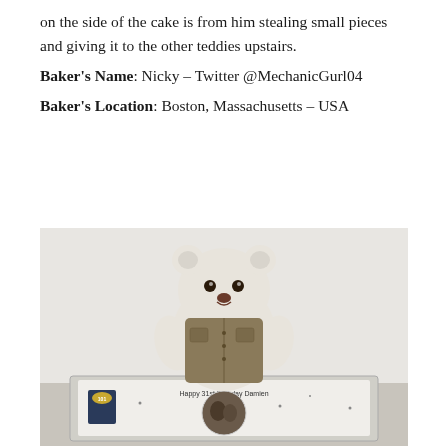on the side of the cake is from him stealing small pieces and giving it to the other teddies upstairs.
Baker's Name: Nicky – Twitter @MechanicGurl04
Baker's Location: Boston, Massachusetts – USA
[Figure (photo): A white teddy bear wearing a khaki/olive military-style vest jacket, sitting behind a rectangular birthday cake on a foil tray. The cake has a photo printed on it and text reading 'Happy 31st Birthday Damien', along with a 101st Airborne Division patch decoration.]